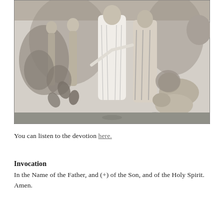[Figure (illustration): Black and white engraving depicting a biblical or classical scene. A robed central figure stands among Adam and Eve (depicted nude) on the left amid foliage, and animals including a lion, ox, and elephant on the right. The style is a detailed 19th-century engraving.]
You can listen to the devotion here.
Invocation
In the Name of the Father, and (+) of the Son, and of the Holy Spirit. Amen.